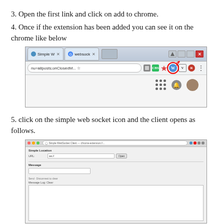3. Open the first link and click on add to chrome.
4. Once if the extension has been added you can see it on the chrome like below
[Figure (screenshot): Screenshot of Chrome browser showing toolbar with Simple WebSocket extension icon highlighted by a red circle with arrow annotation.]
5. click on the simple web socket icon and the client opens as follows.
[Figure (screenshot): Screenshot of the Simple WebSocket Client interface showing Server Location, Message fields and a Message Log area.]